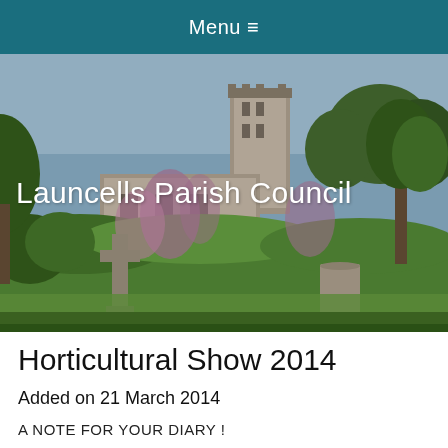Menu ≡
[Figure (photo): Photograph of Launcells parish churchyard showing stone crosses, grave markers, wildflowers, grass, and a stone church tower with trees in the background]
Launcells Parish Council
Horticultural Show 2014
Added on 21 March 2014
A NOTE FOR YOUR DIARY !